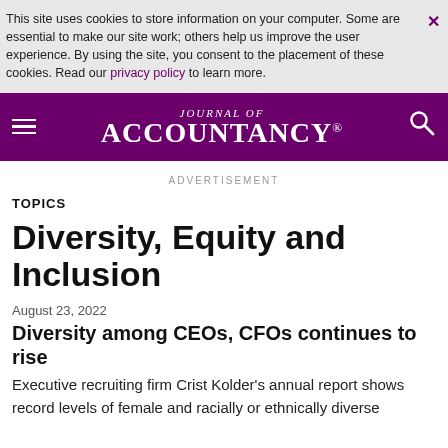This site uses cookies to store information on your computer. Some are essential to make our site work; others help us improve the user experience. By using the site, you consent to the placement of these cookies. Read our privacy policy to learn more.
JOURNAL OF ACCOUNTANCY®
ADVERTISEMENT
TOPICS
Diversity, Equity and Inclusion
August 23, 2022
Diversity among CEOs, CFOs continues to rise
Executive recruiting firm Crist Kolder's annual report shows record levels of female and racially or ethnically diverse